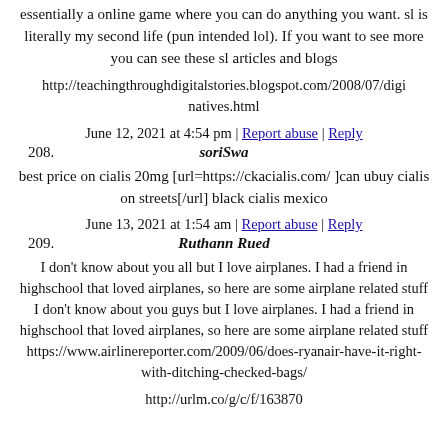essentially a online game where you can do anything you want. sl is literally my second life (pun intended lol). If you want to see more you can see these sl articles and blogs
http://teachingthroughdigitalstories.blogspot.com/2008/07/digi-natives.html
June 12, 2021 at 4:54 pm | Report abuse | Reply
208. soriSwa
best price on cialis 20mg [url=https://ckacialis.com/ ]can ubuy cialis on streets[/url] black cialis mexico
June 13, 2021 at 1:54 am | Report abuse | Reply
209. Ruthann Rued
I don't know about you all but I love airplanes. I had a friend in highschool that loved airplanes, so here are some airplane related stuff I don't know about you guys but I love airplanes. I had a friend in highschool that loved airplanes, so here are some airplane related stuff https://www.airlinereporter.com/2009/06/does-ryanair-have-it-right-with-ditching-checked-bags/
http://urlm.co/g/c/f/163870